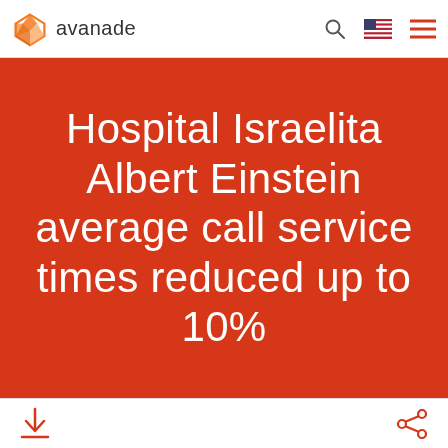avanade
Hospital Israelita Albert Einstein average call service times reduced up to 10%
download share